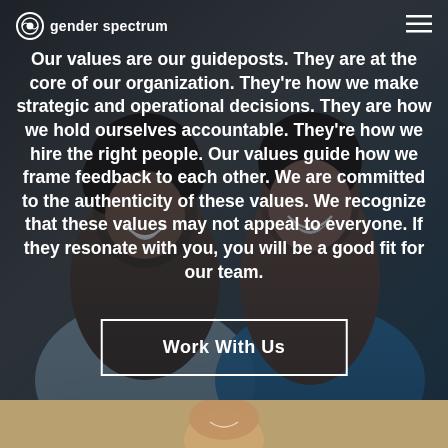gender spectrum
Our values are our guideposts. They are at the core of our organization. They're how we make strategic and operational decisions. They are how we hold ourselves accountable. They're how we hire the right people. Our values guide how we frame feedback to each other. We are committed to the authenticity of these values. We recognize that these values may not appeal to everyone. If they resonate with you, you will be a good fit for our team.
Work With Us